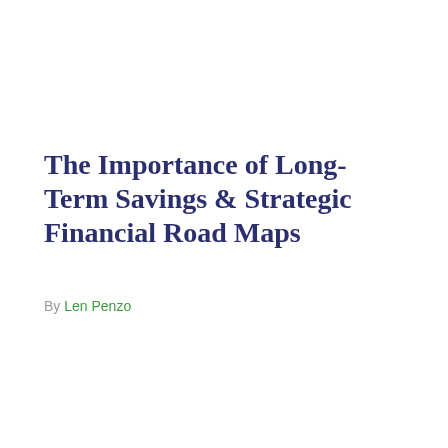The Importance of Long-Term Savings & Strategic Financial Road Maps
By Len Penzo